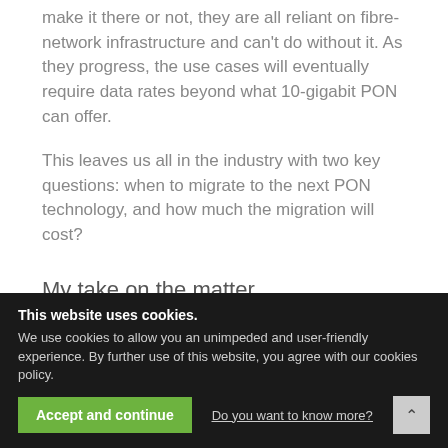make it there or not, they are all reliant on fibre-network infrastructure and can't do without it. As they progress, the use cases will eventually require data rates beyond what 10-gigabit PON can offer.
This leaves us all in the industry with two key questions: when to migrate to the next PON technology, and how much the migration will cost?
My take on the matter
Taking into account the experience from previous technology migrations – such as the one from gigabit (GPON) to 10-gigabit (XGS-PON) era –, the current demands for data rates and the current stage of 10-gigabit rollout, we can probably say the move to the next...
...somewhere in the range of four to seve...
...expec...
This website uses cookies.
We use cookies to allow you an unimpeded and user-friendly experience. By further use of this website, you agree with our cookies policy.
Accept and continue
Do you want to know more?